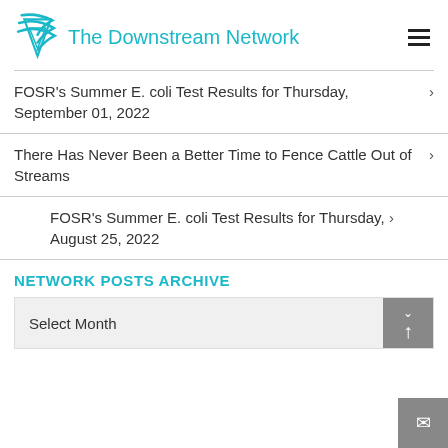The Downstream Network
FOSR's Summer E. coli Test Results for Thursday, September 01, 2022
There Has Never Been a Better Time to Fence Cattle Out of Streams
FOSR's Summer E. coli Test Results for Thursday, August 25, 2022
NETWORK POSTS ARCHIVE
Select Month